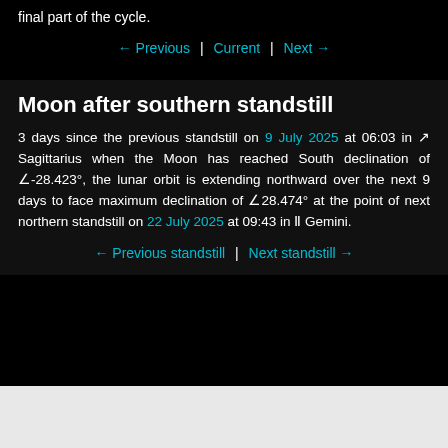final part of the cycle.
← Previous  |  Current  |  Next →
Moon after southern standstill
3 days since the previous standstill on 9 July 2025 at 06:03 in ♐ Sagittarius when the Moon has reached South declination of ∠-28.423°, the lunar orbit is extending northward over the next 9 days to face maximum declination of ∠28.474° at the point of next northern standstill on 22 July 2025 at 09:43 in ♊ Gemini.
← Previous standstill  |  Next standstill →